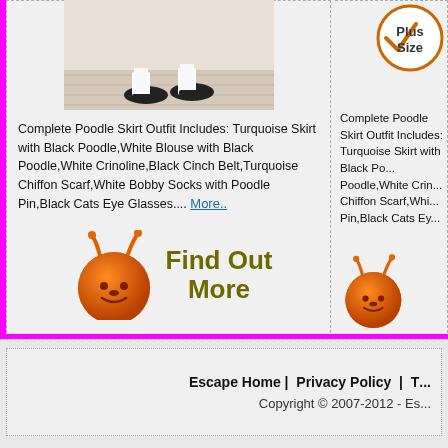[Figure (photo): Cropped photo showing feet/shoes on a light wood floor background]
[Figure (logo): Plus Size badge - circular badge with checkmark and text 'Plus Size']
Complete Poodle Skirt Outfit Includes: Turquoise Skirt with Black Poodle,White Blouse with Black Poodle,White Crinoline,Black Cinch Belt,Turquoise Chiffon Scarf,White Bobby Socks with Poodle Pin,Black Cats Eye Glasses.... More..
[Figure (illustration): Orange bouncy space hopper ball with face, next to 'Find Out More' text in olive/dark yellow bold font]
Complete Poodle Skirt Outfit Includes: Turquoise Skirt with Black Poodle,White Crinoline,Turquoise Chiffon Scarf,White Bobby Socks with Poodle Pin,Black Cats Eye...
Escape Home | Privacy Policy | T... Copyright © 2007-2012 - Es...